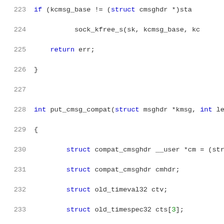[Figure (screenshot): Source code listing lines 223-244 of a C kernel file showing put_cmsg_compat function with syntax highlighting. Line numbers in gray on left, keywords in blue, comments in red, numbers in green, identifiers in black/dark.]